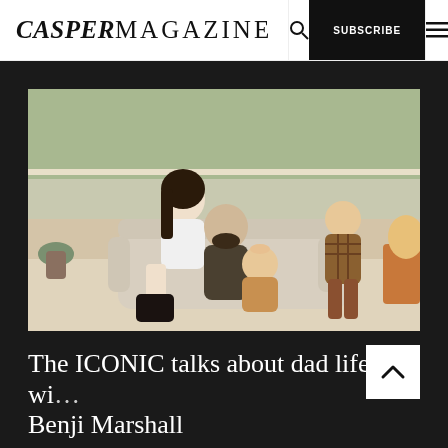CASPERMAGAZINE
[Figure (photo): Family photo: a woman with long dark hair in a white shirt, a bearded man in a dark sweater seated on a light sofa, a baby girl in a tan sweater with a bow headband, and an older child in a plaid jacket, all sitting together in a modern living room with large windows and greenery outside.]
The ICONIC talks about dad life with Benji Marshall